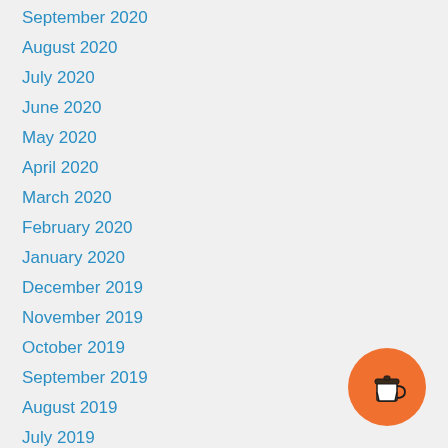September 2020
August 2020
July 2020
June 2020
May 2020
April 2020
March 2020
February 2020
January 2020
December 2019
November 2019
October 2019
September 2019
August 2019
July 2019
[Figure (illustration): Orange circular button with a coffee cup icon]